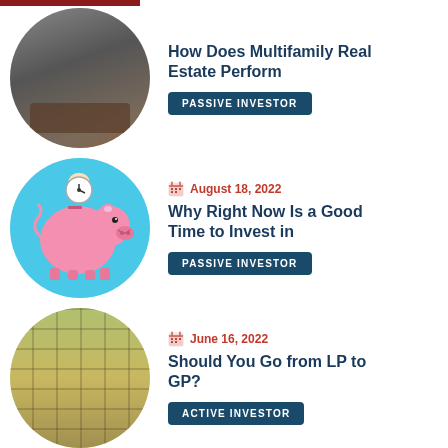[Figure (photo): Circular thumbnail of a stormy sky above apartment buildings]
How Does Multifamily Real Estate Perform
PASSIVE INVESTOR
August 18, 2022
[Figure (photo): Circular thumbnail of a pink piggy bank with a clock being inserted into it on a blue background]
Why Right Now Is a Good Time to Invest in
PASSIVE INVESTOR
June 16, 2022
[Figure (photo): Circular thumbnail of a yellow apartment building facade with balconies]
Should You Go from LP to GP?
ACTIVE INVESTOR